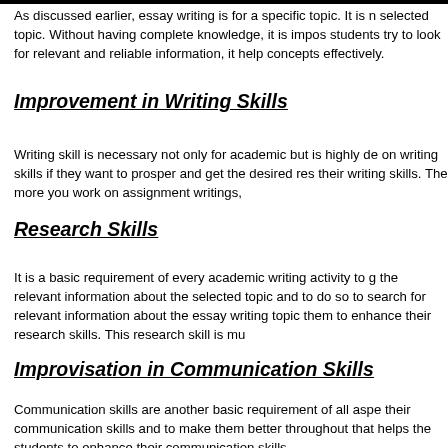As discussed earlier, essay writing is for a specific topic. It is n selected topic. Without having complete knowledge, it is impos students try to look for relevant and reliable information, it help concepts effectively.
Improvement in Writing Skills
Writing skill is necessary not only for academic but is highly de on writing skills if they want to prosper and get the desired res their writing skills. The more you work on assignment writings,
Research Skills
It is a basic requirement of every academic writing activity to g the relevant information about the selected topic and to do so to search for relevant information about the essay writing topic them to enhance their research skills. This research skill is mu
Improvisation in Communication Skills
Communication skills are another basic requirement of all aspe their communication skills and to make them better throughout that helps the students to enhance their communication skills